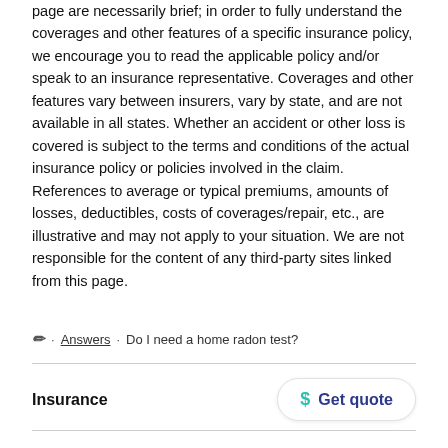page are necessarily brief; in order to fully understand the coverages and other features of a specific insurance policy, we encourage you to read the applicable policy and/or speak to an insurance representative. Coverages and other features vary between insurers, vary by state, and are not available in all states. Whether an accident or other loss is covered is subject to the terms and conditions of the actual insurance policy or policies involved in the claim. References to average or typical premiums, amounts of losses, deductibles, costs of coverages/repair, etc., are illustrative and may not apply to your situation. We are not responsible for the content of any third-party sites linked from this page.
✏ · Answers · Do I need a home radon test?
Insurance